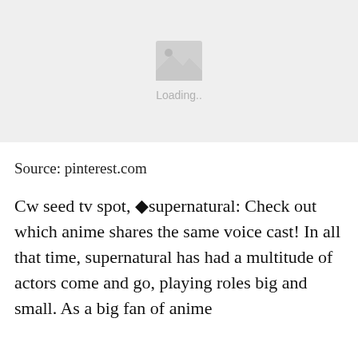[Figure (photo): Image placeholder with a mountain/landscape icon and 'Loading..' text on a light grey background]
Source: pinterest.com
Cw seed tv spot, �supernatural: Check out which anime shares the same voice cast! In all that time, supernatural has had a multitude of actors come and go, playing roles big and small. As a big fan of anime